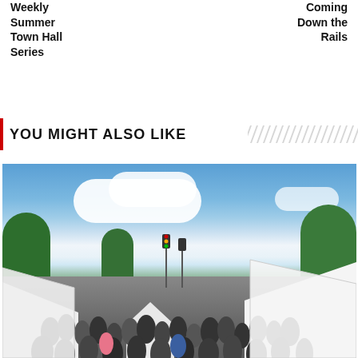Weekly Summer Town Hall Series
Coming Down the Rails
YOU MIGHT ALSO LIKE
[Figure (photo): Outdoor street fair or art festival scene with white vendor tents lining a street, large crowd of people walking through, green trees in the background, and a bright blue sky with white clouds above.]